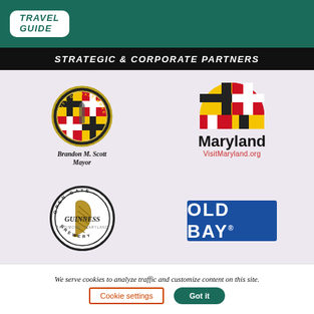[Figure (logo): Travel Guide logo on dark teal background with white rounded rectangle containing bold italic green TRAVEL GUIDE text]
STRATEGIC & CORPORATE PARTNERS
[Figure (logo): City of Baltimore seal with Maryland flag colors, circular badge with monument, text Brandon M. Scott Mayor below]
[Figure (logo): Maryland VisitMaryland.org logo with Maryland flag crab icon in arch shape, text Maryland in bold and VisitMaryland.org in red]
[Figure (logo): Open Gate Guinness Brewery circular logo with harp in center, text around circle reading OPEN GATE GUINNESS BALTIMORE MARYLAND BREWERY]
[Figure (logo): Old Bay logo: white bold text OLD BAY with registered trademark on blue rectangle background]
We serve cookies to analyze traffic and customize content on this site.
Cookie settings
Got it